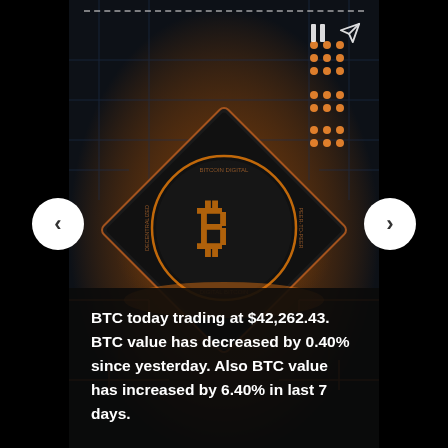[Figure (photo): Bitcoin cryptocurrency chip glowing with orange light on a dark circuit board, with the Bitcoin logo (B symbol) prominently displayed on a dark square chip]
BTC today trading at $42,262.43. BTC value has decreased by 0.40% since yesterday. Also BTC value has increased by 6.40% in last 7 days.